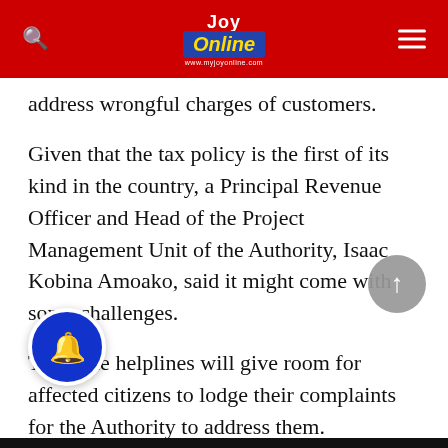Joy Online
address wrongful charges of customers.
Given that the tax policy is the first of its kind in the country, a Principal Revenue Officer and Head of the Project Management Unit of the Authority, Isaac Kobina Amoako, said it might come with some challenges.
Thus, the helplines will give room for affected citizens to lodge their complaints for the Authority to address them.